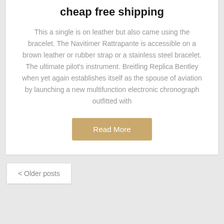cheap free shipping
This a single is on leather but also came using the bracelet. The Navitimer Rattrapante is accessible on a brown leather or rubber strap or a stainless steel bracelet. The ultimate pilot's instrument. Breitling Replica Bentley when yet again establishes itself as the spouse of aviation by launching a new multifunction electronic chronograph outfitted with
Read More
‹ Older posts